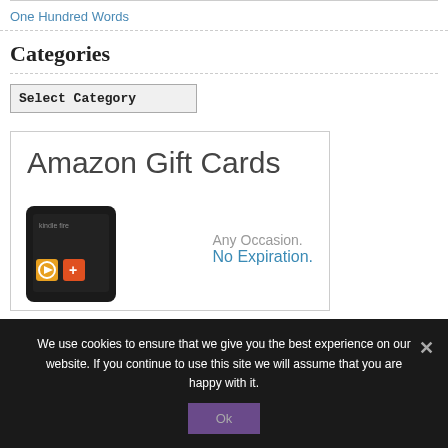One Hundred Words
Categories
Select Category
[Figure (photo): Amazon Gift Cards advertisement showing a Kindle Fire device with text 'Amazon Gift Cards', 'Any Occasion.', 'No Expiration.']
We use cookies to ensure that we give you the best experience on our website. If you continue to use this site we will assume that you are happy with it.
Ok